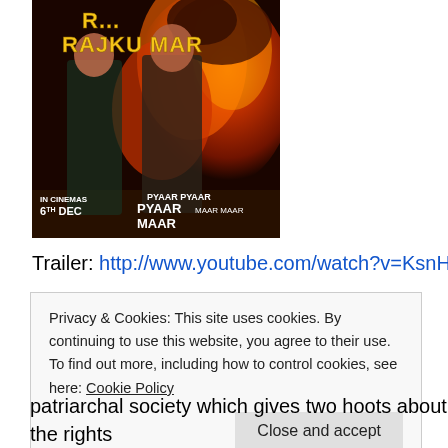[Figure (photo): Movie poster for 'R... Rajkumar' featuring two actors against a fiery explosion background. Text reads 'PYAAR PYAAR PYAAR MAAR MAAR MAAR', 'IN CINEMAS 6th DEC']
Trailer: http://www.youtube.com/watch?v=KsnHky4wv5w
Privacy & Cookies: This site uses cookies. By continuing to use this website, you agree to their use.
To find out more, including how to control cookies, see here: Cookie Policy
Close and accept
patriarchal society which gives two hoots about the rights